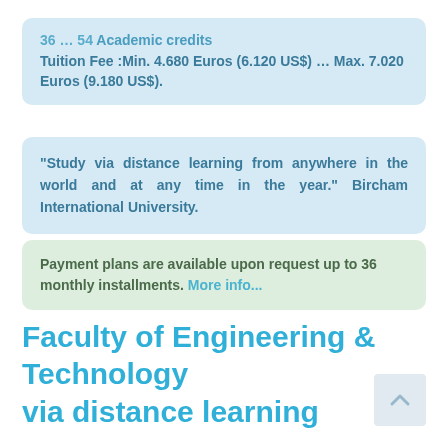36 … 54 Academic credits
Tuition Fee :Min. 4.680 Euros (6.120 US$) … Max. 7.020 Euros (9.180 US$).
"Study via distance learning from anywhere in the world and at any time in the year." Bircham International University.
Payment plans are available upon request up to 36 monthly installments. More info...
Faculty of Engineering & Technology via distance learning